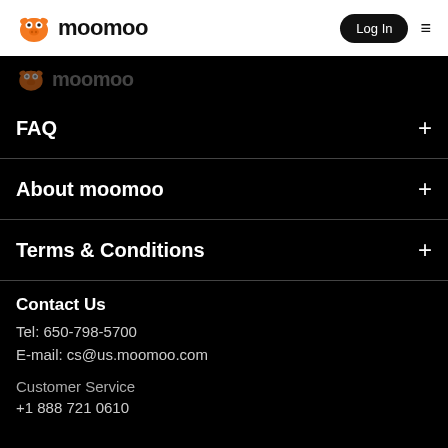moomoo | Log In
[Figure (logo): Moomoo logo with orange mascot icon and 'moomoo' wordmark, faded/greyed version in dark section]
FAQ +
About moomoo +
Terms & Conditions +
Contact Us
Tel: 650-798-5700
E-mail: cs@us.moomoo.com
Customer Service
+1 888 721 0610